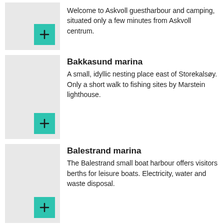Welcome to Askvoll guestharbour and camping, situated only a few minutes from Askvoll centrum.
Bakkasund marina
A small, idyllic nesting place east of Storekalsøy. Only a short walk to fishing sites by Marstein lighthouse.
Balestrand marina
The Balestrand small boat harbour offers visitors berths for leisure boats. Electricity, water and waste disposal.
Bekkjarvik marina
Bekkjarvik guest harbor is an idyllic harbour sheltered for wind.